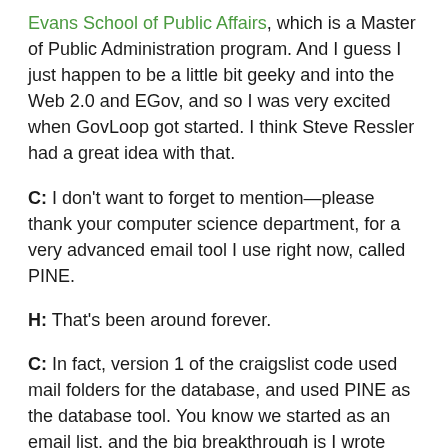Evans School of Public Affairs, which is a Master of Public Administration program. And I guess I just happen to be a little bit geeky and into the Web 2.0 and EGov, and so I was very excited when GovLoop got started. I think Steve Ressler had a great idea with that.
C: I don't want to forget to mention—please thank your computer science department, for a very advanced email tool I use right now, called PINE.
H: That's been around forever.
C: In fact, version 1 of the craigslist code used mail folders for the database, and used PINE as the database tool. You know we started as an email list, and the big breakthrough is I wrote code which turned email into html. Probably it's good minimalism.